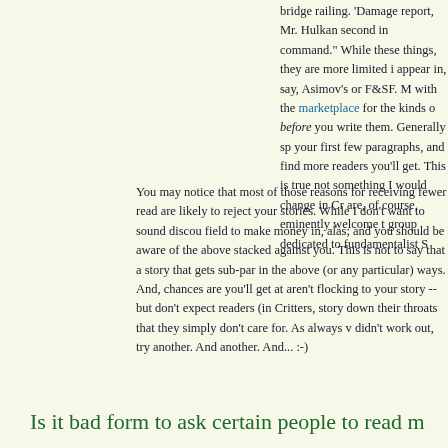bridge railing. 'Damage report, Mr. Hulkan second in command." While these things, they are more limited in appear in, say, Asimov's or F&SF. M with the marketplace for the kinds of before you write them. Generally sp your first few paragraphs, and find more readers you'll get. This is true not something I would change in Cr are, of course, eminently welcome t group dedicated to fundamentalist S
You may notice that most of those reasons for receiving fewer read are likely to reject your stories. While I don't want to sound discou field to make money in, alas; and you should be aware of the above stacked against you. This is not to say that a story that gets sub-par in the above (or any particular) ways. And, chances are you'll get at aren't flocking to your story -- but don't expect readers (in Critters, story down their throats that they simply don't care for. As always v didn't work out, try another. And another. And... :-)
Is it bad form to ask certain people to read m